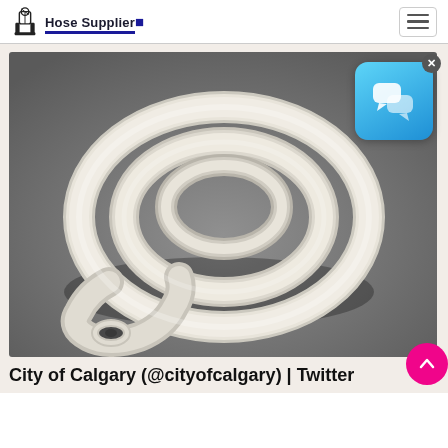Hose Supplier
[Figure (photo): A coiled white rubber hose on a gray background, showing the hollow end of the hose in the foreground]
City of Calgary (@cityofcalgary) | Twitter